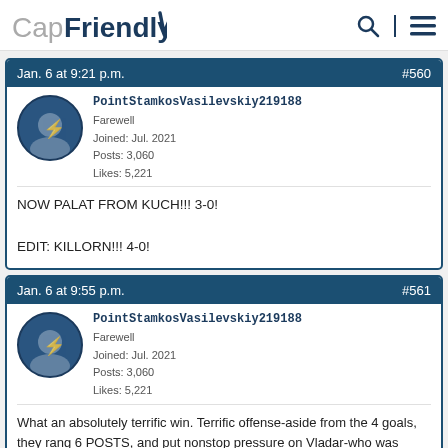CapFriendly
Jan. 6 at 9:21 p.m.  #560
PointStamkosVasilevskiy219188
Farewell
Joined: Jul. 2021
Posts: 3,060
Likes: 5,221
NOW PALAT FROM KUCH!!! 3-0!
EDIT: KILLORN!!! 4-0!
Jan. 6 at 9:55 p.m.  #561
PointStamkosVasilevskiy219188
Farewell
Joined: Jul. 2021
Posts: 3,060
Likes: 5,221
What an absolutely terrific win. Terrific offense-aside from the 4 goals, they rang 6 POSTS, and put nonstop pressure on Vladar-who was terrific and kept Calgary in it until the 3rd, then the wheels came off, largely in part thanks to a PHENOMENAL (but unsurprising) stop from Kuch, 3 beautiful assists to Point and Palat, and...